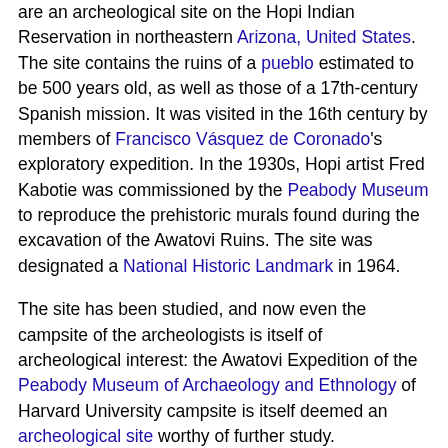are an archeological site on the Hopi Indian Reservation in northeastern Arizona, United States. The site contains the ruins of a pueblo estimated to be 500 years old, as well as those of a 17th-century Spanish mission. It was visited in the 16th century by members of Francisco Vásquez de Coronado's exploratory expedition. In the 1930s, Hopi artist Fred Kabotie was commissioned by the Peabody Museum to reproduce the prehistoric murals found during the excavation of the Awatovi Ruins. The site was designated a National Historic Landmark in 1964.
The site has been studied, and now even the campsite of the archeologists is itself of archeological interest: the Awatovi Expedition of the Peabody Museum of Archaeology and Ethnology of Harvard University campsite is itself deemed an archeological site worthy of further study.